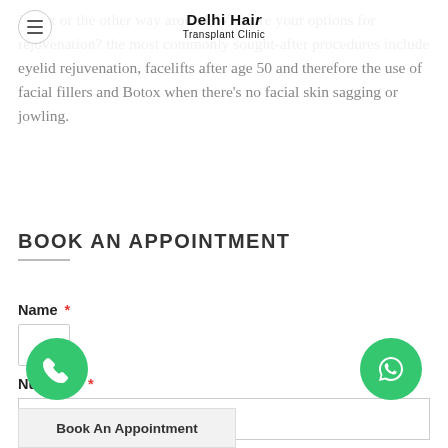Delhi Hair Transplant Clinic
Botox or the other way around. What are your options for rejuvenation? the most commonly sought-after procedures include eyelid rejuvenation, facelifts after age 50 and therefore the use of facial fillers and Botox when there's no facial skin sagging or jowling.
BOOK AN APPOINTMENT
Name *
Numbers *